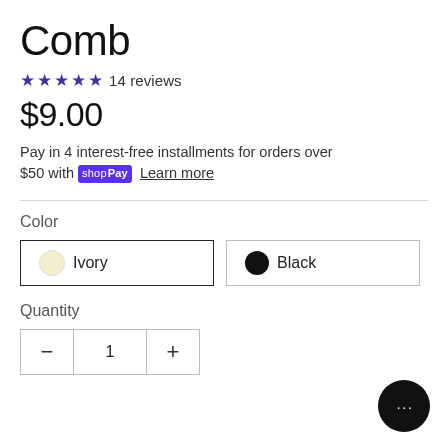Comb
★★★★★ 14 reviews
$9.00
Pay in 4 interest-free installments for orders over $50 with shopPay Learn more
Color
Ivory
Black
Quantity
− 1 +